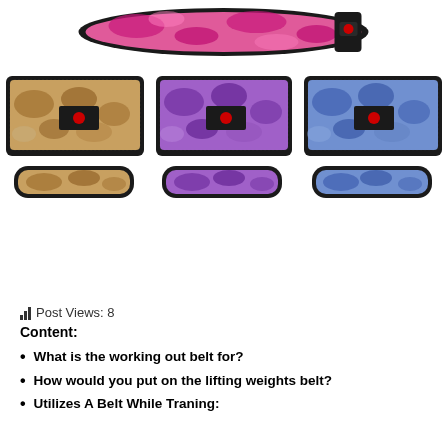[Figure (photo): Pink camouflage weightlifting belt shown from front view at top of page]
[Figure (photo): Three weightlifting belts in tan/gold, purple, and blue camouflage patterns, each shown in large and small views]
Post Views: 8
Content:
What is the working out belt for?
How would you put on the lifting weights belt?
Utilizes A Belt While Traning: